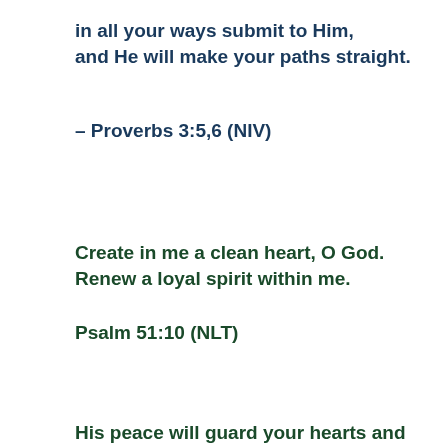in all your ways submit to Him,
and He will make your paths straight.
– Proverbs 3:5,6 (NIV)
Create in me a clean heart, O God. Renew a loyal spirit within me.
Psalm 51:10 (NLT)
His peace will guard your hearts and minds as you live